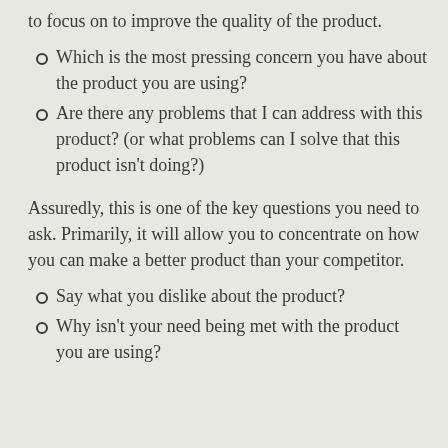to focus on to improve the quality of the product.
Which is the most pressing concern you have about the product you are using?
Are there any problems that I can address with this product? (or what problems can I solve that this product isn't doing?)
Assuredly, this is one of the key questions you need to ask. Primarily, it will allow you to concentrate on how you can make a better product than your competitor.
Say what you dislike about the product?
Why isn't your need being met with the product you are using?